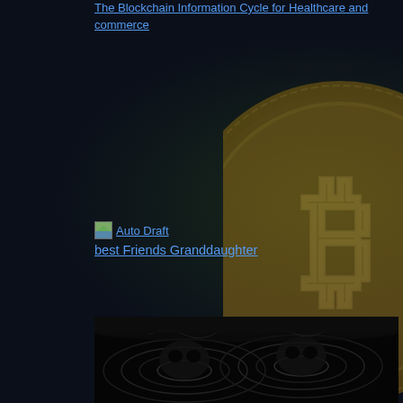The Blockchain Information Cycle for Healthcare and Commerce
[Figure (photo): Small thumbnail image labeled 'Auto Draft']
best Friends Granddaughter
[Figure (photo): Water ripple effect showing reflections that look like skull-like faces in dark water splashes, monochrome dark image]
[Figure (photo): Bitcoin coin graphic partially visible on right side background, golden color with B symbol]